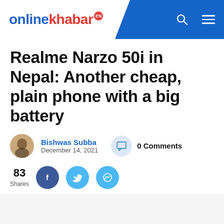onlinekhabar EN
Realme Narzo 50i in Nepal: Another cheap, plain phone with a big battery
Bishwas Subba
December 14, 2021
0 Comments
83 Shares
Photo: Realme